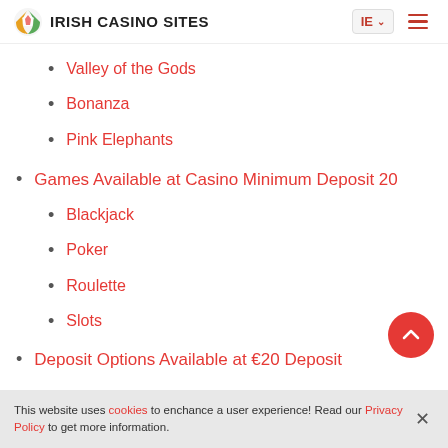IRISH CASINO SITES | IE
Valley of the Gods
Bonanza
Pink Elephants
Games Available at Casino Minimum Deposit 20
Blackjack
Poker
Roulette
Slots
Deposit Options Available at €20 Deposit
This website uses cookies to enchance a user experience! Read our Privacy Policy to get more information.